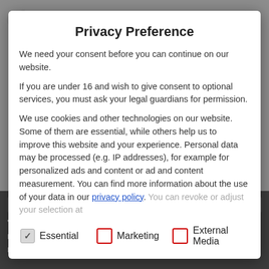Privacy Preference
We need your consent before you can continue on our website.
If you are under 16 and wish to give consent to optional services, you must ask your legal guardians for permission.
We use cookies and other technologies on our website. Some of them are essential, while others help us to improve this website and your experience. Personal data may be processed (e.g. IP addresses), for example for personalized ads and content or ad and content measurement. You can find more information about the use of your data in our privacy policy. You can revoke or adjust your selection at
Essential (checked)
Marketing (unchecked)
External Media (unchecked)
“designed by the worldwide Mercedes-Benz design network” and developed by the “global engineering network of Geely”. Mercedes-Benz influence on the